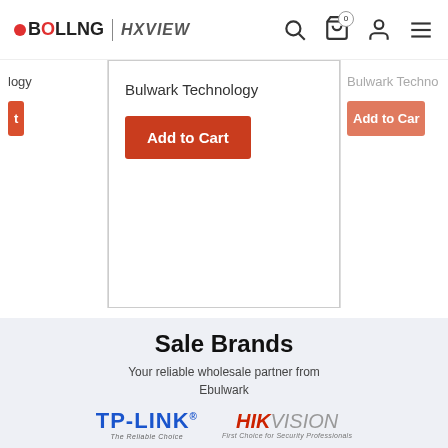BOLLNG | HXVIEW — navigation header with search, cart (0), account, and menu icons
logy — Bulwark Technology — Bulwark Techno
Add to Cart
Add to Cart
Sale Brands
Your reliable wholesale partner from Ebulwark
[Figure (logo): TP-LINK logo with tagline 'The Reliable Choice']
[Figure (logo): HIKVISION logo with tagline 'First Choice for Security Professionals']